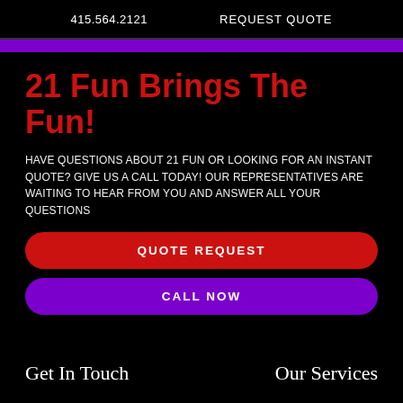415.564.2121    REQUEST QUOTE
21 Fun Brings The Fun!
HAVE QUESTIONS ABOUT 21 FUN OR LOOKING FOR AN INSTANT QUOTE? GIVE US A CALL TODAY! OUR REPRESENTATIVES ARE WAITING TO HEAR FROM YOU AND ANSWER ALL YOUR QUESTIONS
QUOTE REQUEST
CALL NOW
Get In Touch
Our Services